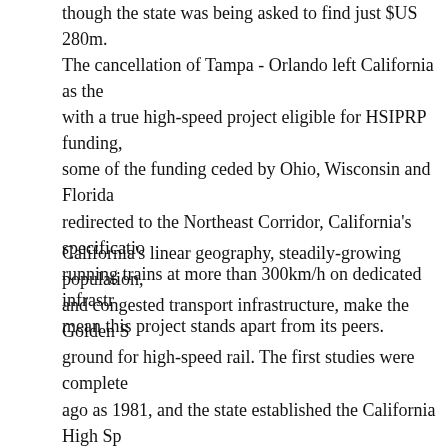though the state was being asked to find just $US 280m.
The cancellation of Tampa - Orlando left California as the only state with a true high-speed project eligible for HSIPRP funding, and with some of the funding ceded by Ohio, Wisconsin and Florida being redirected to the Northeast Corridor, California's specification of running trains at more than 300km/h on dedicated infrastructure mean this project stands apart from its peers.
California's linear geography, steadily-growing population, and congested transport infrastructure, make the Golden State fertile ground for high-speed rail. The first studies were completed as long ago as 1981, and the state established the California High Speed Authority (CHSRA) in 1996 to take the planning of the network forward. However, the state bond issue required to finance construction was not put to a public vote until 2008, when Proposition 1A became the country's first ever voter-approved financing mechanism for high-speed rail.